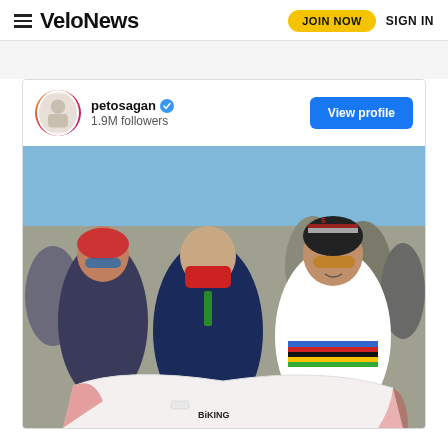VeloNews  JOIN NOW  SIGN IN
[Figure (screenshot): Instagram embed card showing petosagan account with 1.9M followers, View profile button, and photo of Peter Sagan in world champion rainbow jersey holding a cycling jersey alongside a man in a red mask at a cycling event.]